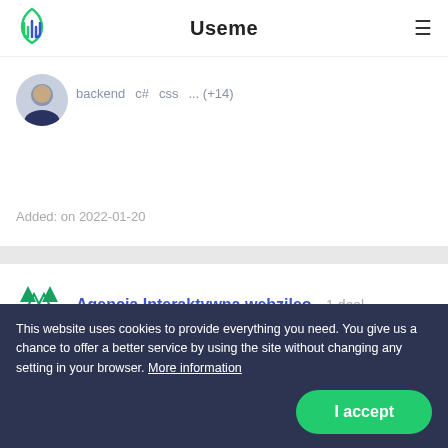Useme
backend  c#  css  ... (+14)
Added: on 2022-01-20
Agencja Interaktywna webzileo  1 deal
This website uses cookies to provide everything you need. You give us a chance to offer a better service by using the site without changing any setting in your browser. More information
I accept